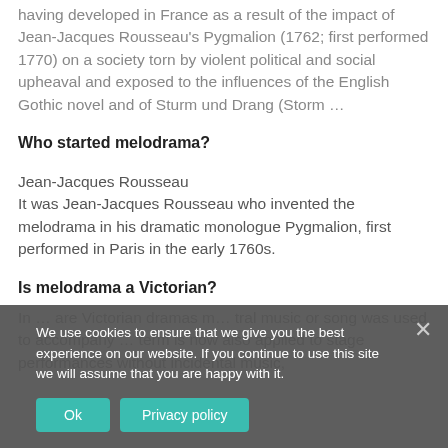having developed in France as a result of the impact of Jean-Jacques Rousseau's Pygmalion (1762; first performed 1770) on a society torn by violent political and social upheaval and exposed to the influences of the English Gothic novel and of Sturm und Drang (Storm …
Who started melodrama?
Jean-Jacques Rousseau
It was Jean-Jacques Rousseau who invented the melodrama in his dramatic monologue Pygmalion, first performed in Paris in the early 1760s.
Is melodrama a Victorian?
In … are Victorian dramas … tral music or song was used to accompany … term is now also applied to stage performances without incidental music,